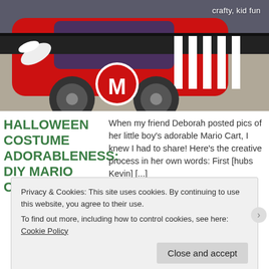[Figure (photo): A red DIY Mario Kart go-kart costume made from cardboard, with black and white racing stripes on the side, gray wheels, a white circle with red letter M on the front, and a white wing. Photographed outdoors on pavement.]
crafty, kid fun
HALLOWEEN COSTUME ADORABLENESS: DIY MARIO CART
When my friend Deborah posted pics of her little boy's adorable Mario Cart, I knew I had to share! Here's the creative process in her own words: First [hubs Kevin] [...]
Privacy & Cookies: This site uses cookies. By continuing to use this website, you agree to their use.
To find out more, including how to control cookies, see here: Cookie Policy
Close and accept
Follow